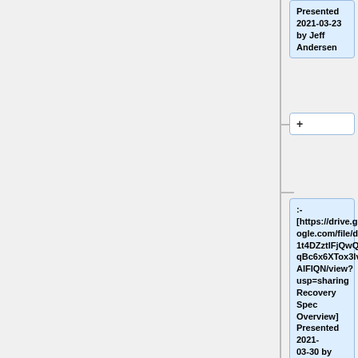Presented 2021-03-23 by Jeff Andersen
+
:- [https://drive.google.com/file/d/1t4DZztlFjQwQ2qBc6x6XTox3IvAlFIQN/view?usp=sharing Recovery Spec Overview] Presented 2021-03-30 by Bryan Kelly
+
:- [https://drive.google.com/file/d/